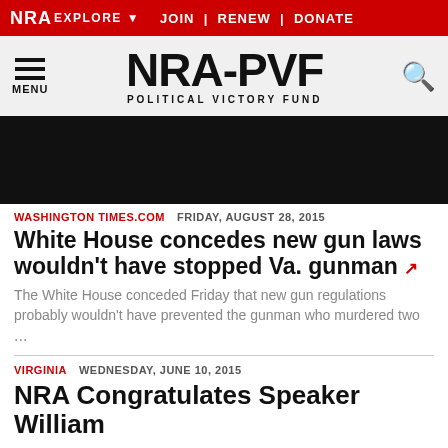NRA EXPLORE ▼   JOIN | RENEW | DONATE
NRA-PVF POLITICAL VICTORY FUND
[Figure (photo): Dark/black hero image banner]
WASHINGTON TIMES.COM   FRIDAY, AUGUST 28, 2015
White House concedes new gun laws wouldn't have stopped Va. gunman ↗
The White House conceded Friday that new gun regulations probably wouldn't have prevented the gunman who murdered two ...
VIRGINIA   WEDNESDAY, JUNE 10, 2015
NRA Congratulates Speaker William